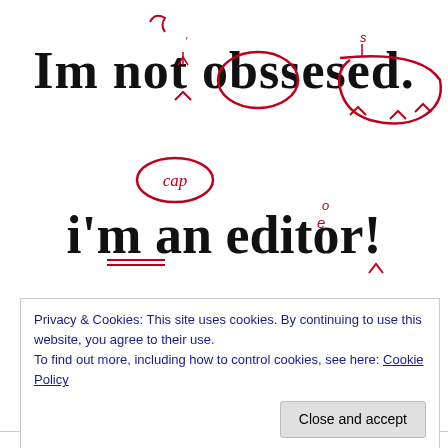[Figure (illustration): Humorous grammar/editing illustration: large text 'Im not obssesed.' with red proofreading marks circling 'not', adding apostrophe, marking spelling errors with carets and 's' corrections. Below: circled 'cap' mark, then large text 'i'm an editor!' with red proofreading marks adding 'e' superscript above 't', double underline under 'i'm', caret under 'r'.]
If you have any questions regarding this post, or an editing slot, please contact me either through this form or cynthiashepp@yahoo.com.
Name (required)
Privacy & Cookies: This site uses cookies. By continuing to use this website, you agree to their use.
To find out more, including how to control cookies, see here: Cookie Policy
Close and accept